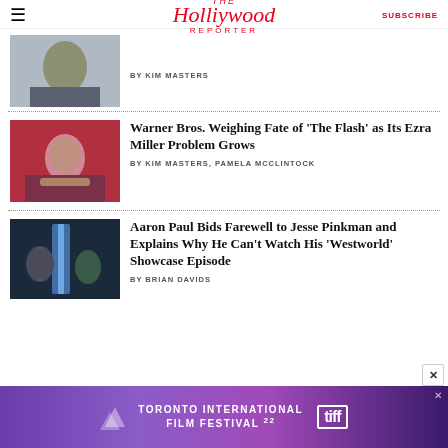The Hollywood Reporter | SUBSCRIBE
[Figure (photo): Partial photo of a man in a dark jacket, upper body and face cropped]
BY KIM MASTERS
[Figure (photo): Person with dark curly hair wearing fur coat and necklace against red background]
Warner Bros. Weighing Fate of 'The Flash' as Its Ezra Miller Problem Grows
BY KIM MASTERS, PAMELA MCCLINTOCK
[Figure (photo): Two people standing in a dark blue-lit doorway scene]
Aaron Paul Bids Farewell to Jesse Pinkman and Explains Why He Can't Watch His 'Westworld' Showcase Episode
BY BRIAN DAVIDS
[Figure (infographic): Toronto International Film Festival 22 advertisement banner with purple gradient background and tiff logo]